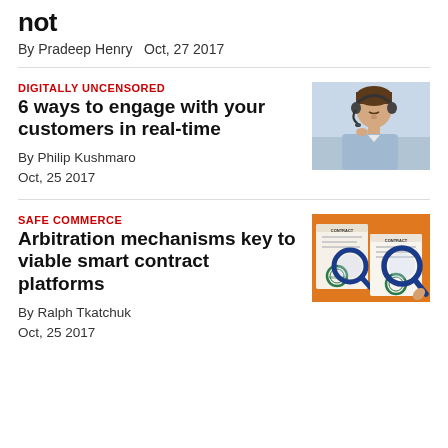not
By Pradeep Henry   Oct, 27 2017
DIGITALLY UNCENSORED
6 ways to engage with your customers in real-time
[Figure (photo): Man wearing a headset, customer service agent]
By Philip Kushmaro
Oct, 25 2017
SAFE COMMERCE
Arbitration mechanisms key to viable smart contract platforms
[Figure (photo): Orange background with two contract documents and magnifying glasses]
By Ralph Tkatchuk
Oct, 25 2017